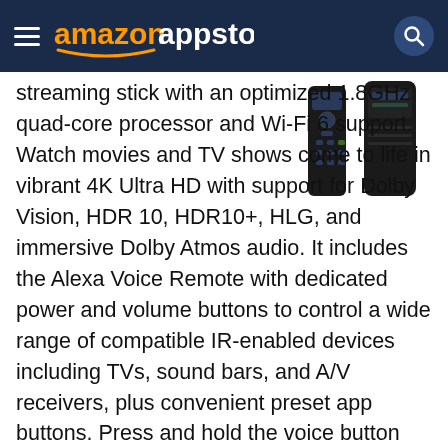amazon appstore
[Figure (photo): Two black Amazon Fire TV streaming stick devices shown side by side against white background]
streaming stick with an optimized 1.8GHz quad-core processor and Wi-Fi 6 support. Watch movies and TV shows come to life in vibrant 4K Ultra HD with support for Dolby Vision, HDR 10, HDR10+, HLG, and immersive Dolby Atmos audio. It includes the Alexa Voice Remote with dedicated power and volume buttons to control a wide range of compatible IR-enabled devices including TVs, sound bars, and A/V receivers, plus convenient preset app buttons. Press and hold the voice button and ask Alexa to find, launch and control your content, or switch TV inputs, control lights, thermostats, and other compatible smart home devices. View live camera feeds without